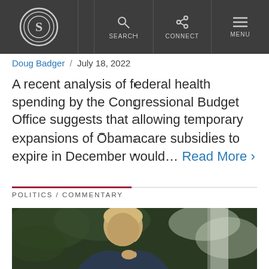S logo / SEARCH / CONNECT / MENU navigation bar
Doug Badger / July 18, 2022
A recent analysis of federal health spending by the Congressional Budget Office suggests that allowing temporary expansions of Obamacare subsidies to expire in December would… Read More >
POLITICS / COMMENTARY
[Figure (photo): Photograph of a man pointing, photographed outdoors with dark foliage background and light-colored column visible in background.]